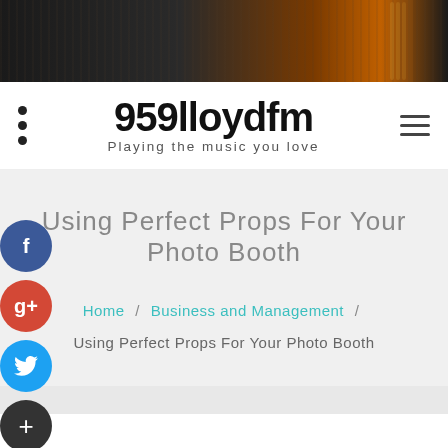[Figure (photo): Dark banner image with blurred microphone and recording equipment in warm amber and dark tones]
959lloydfm
Playing the music you love
Using Perfect Props For Your Photo Booth
Home / Business and Management / Using Perfect Props For Your Photo Booth